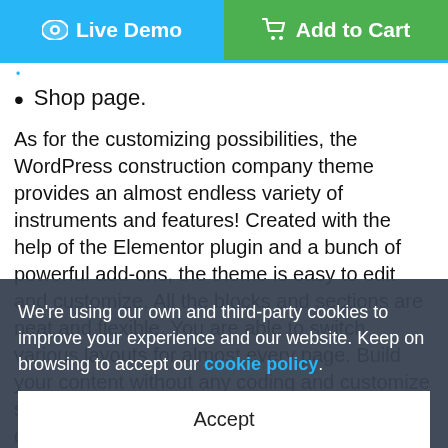[Figure (other): Two buttons side by side: blue 'Live Demo' button with eye icon on left, green 'Add to Cart' button with cart icon on right]
Shop page.
As for the customizing possibilities, the WordPress construction company theme provides an almost endless variety of instruments and features! Created with the help of the Elementor plugin and a bunch of powerful add-ons, the theme is easy to edit and customize. All the blocks and sections are neat and flexible. You are able to switch various layouts for almost every page. Build your content without any coding and customize styles on the fly! Rely on the content and display it on your pages...
Explore all the variety of features and sections, provided with the WordPress construction company template and find...
We're using our own and third-party cookies to improve your experience and our website. Keep on browsing to accept our cookie policy.
Accept